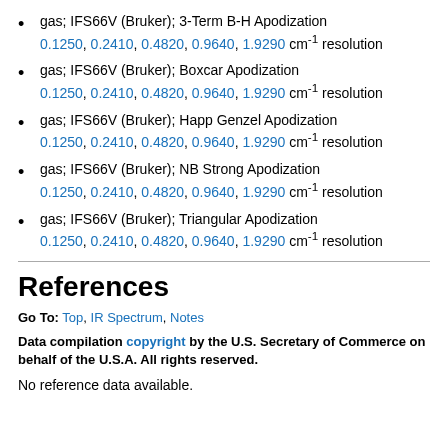gas; IFS66V (Bruker); 3-Term B-H Apodization 0.1250, 0.2410, 0.4820, 0.9640, 1.9290 cm-1 resolution
gas; IFS66V (Bruker); Boxcar Apodization 0.1250, 0.2410, 0.4820, 0.9640, 1.9290 cm-1 resolution
gas; IFS66V (Bruker); Happ Genzel Apodization 0.1250, 0.2410, 0.4820, 0.9640, 1.9290 cm-1 resolution
gas; IFS66V (Bruker); NB Strong Apodization 0.1250, 0.2410, 0.4820, 0.9640, 1.9290 cm-1 resolution
gas; IFS66V (Bruker); Triangular Apodization 0.1250, 0.2410, 0.4820, 0.9640, 1.9290 cm-1 resolution
References
Go To: Top, IR Spectrum, Notes
Data compilation copyright by the U.S. Secretary of Commerce on behalf of the U.S.A. All rights reserved.
No reference data available.